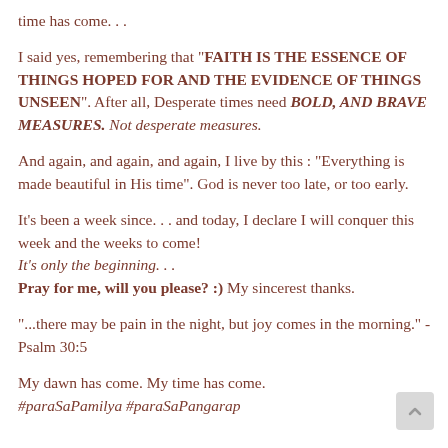time has come. . .
I said yes, remembering that "FAITH IS THE ESSENCE OF THINGS HOPED FOR AND THE EVIDENCE OF THINGS UNSEEN". After all, Desperate times need BOLD, AND BRAVE MEASURES. Not desperate measures.
And again, and again, and again, I live by this : "Everything is made beautiful in His time". God is never too late, or too early.
It's been a week since. . . and today, I declare I will conquer this week and the weeks to come!
It's only the beginning. . .
Pray for me, will you please? :) My sincerest thanks.
"...there may be pain in the night, but joy comes in the morning." - Psalm 30:5
My dawn has come. My time has come.
#paraSaPamilya #paraSaPangarap